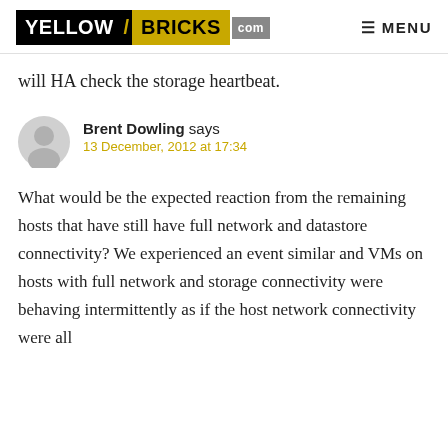YELLOW/BRICKS.com  MENU
will HA check the storage heartbeat.
Brent Dowling says
13 December, 2012 at 17:34
What would be the expected reaction from the remaining hosts that have still have full network and datastore connectivity? We experienced an event similar and VMs on hosts with full network and storage connectivity were behaving intermittently as if the host network connectivity were all